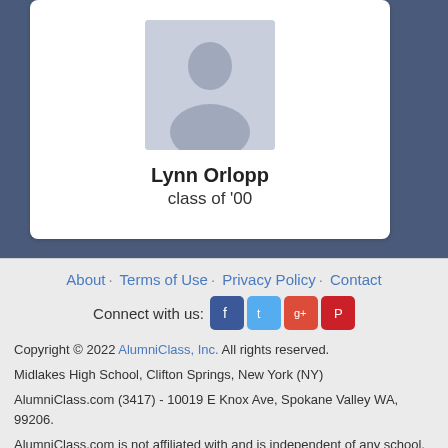[Figure (photo): Default user avatar silhouette on gray-blue background]
Lynn Orlopp
class of '00
About · Terms of Use · Privacy Policy · Contact
Connect with us: [Facebook] [Twitter] [Google+] [Pinterest]
Copyright © 2022 AlumniClass, Inc. All rights reserved.
Midlakes High School, Clifton Springs, New York (NY)
AlumniClass.com (3417) - 10019 E Knox Ave, Spokane Valley WA, 99206.
AlumniClass.com is not affiliated with and is independent of any school, school district, alumni association or any other sites.